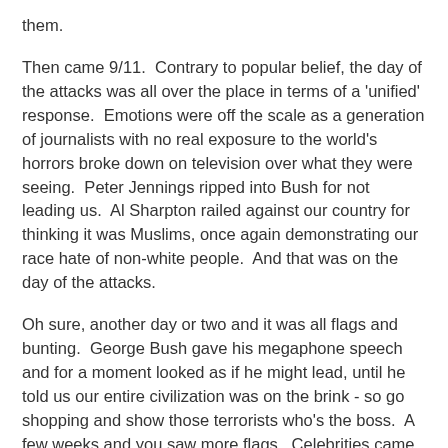them.
Then came 9/11.  Contrary to popular belief, the day of the attacks was all over the place in terms of a 'unified' response.  Emotions were off the scale as a generation of journalists with no real exposure to the world's horrors broke down on television over what they were seeing.  Peter Jennings ripped into Bush for not leading us.  Al Sharpton railed against our country for thinking it was Muslims, once again demonstrating our race hate of non-white people.  And that was on the day of the attacks.
Oh sure, another day or two and it was all flags and bunting.  George Bush gave his megaphone speech and for a moment looked as if he might lead, until he told us our entire civilization was on the brink - so go shopping and show those terrorists who's the boss.  A few weeks and you saw more flags.  Celebrities came out of the woodwork to produce shows raising money for the victims.  Jim Carrey and Kevin Spacey held up the child of a slain first responder for a big photo op.  Some country singer caught the hypocrisy in Lennon's Imagine and called on us to imagine